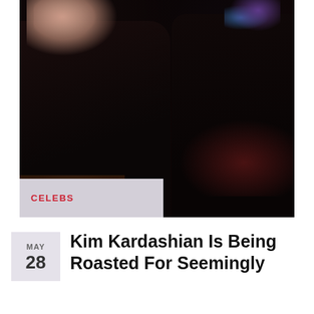[Figure (photo): Dark nightclub or party scene with two people in black clothing. Person on left has light/blond hair visible at top, leaning forward. Person on right is turned away. Background has colorful stage lights in blue and red/orange.]
CELEBS
MAY 28
Kim Kardashian Is Being Roasted For Seemingly